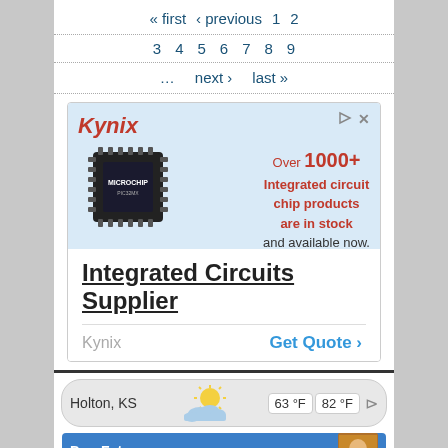« first  ‹ previous  1  2  3  4  5  6  7  8  9  ...  next ›  last »
[Figure (screenshot): Kynix advertisement banner with microchip image. Text: Over 1000+ Integrated circuit chip products are in stock and available now. Integrated Circuits Supplier. Kynix. Get Quote ›]
[Figure (infographic): Weather widget showing Holton, KS with partly cloudy sun icon, 63°F and 82°F temperatures]
[Figure (screenshot): Bottom teaser strip with Don Fate text and photo thumbnail]